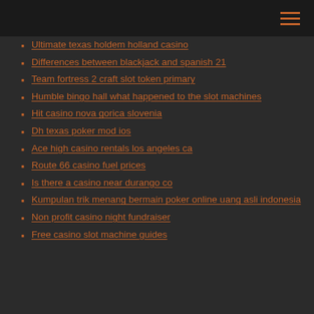Ultimate texas holdem holland casino
Differences between blackjack and spanish 21
Team fortress 2 craft slot token primary
Humble bingo hall what happened to the slot machines
Hit casino nova gorica slovenia
Dh texas poker mod ios
Ace high casino rentals los angeles ca
Route 66 casino fuel prices
Is there a casino near durango co
Kumpulan trik menang bermain poker online uang asli indonesia
Non profit casino night fundraiser
Free casino slot machine guides